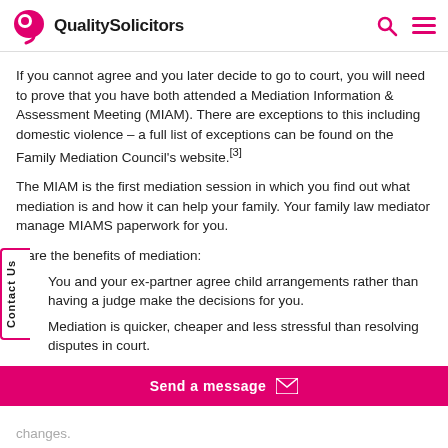QualitySolicitors
If you cannot agree and you later decide to go to court, you will need to prove that you have both attended a Mediation Information & Assessment Meeting (MIAM). There are exceptions to this including domestic violence – a full list of exceptions can be found on the Family Mediation Council's website.[3]
The MIAM is the first mediation session in which you find out what mediation is and how it can help your family. Your family law mediator manage MIAMS paperwork for you.
e are the benefits of mediation:
You and your ex-partner agree child arrangements rather than having a judge make the decisions for you.
Mediation is quicker, cheaper and less stressful than resolving disputes in court.
It is easier for you and your ex-partner to review and change
changes.